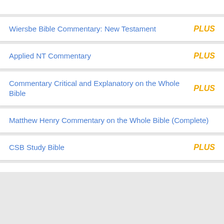Wiersbe Bible Commentary: New Testament | PLUS
Applied NT Commentary | PLUS
Commentary Critical and Explanatory on the Whole Bible | PLUS
Matthew Henry Commentary on the Whole Bible (Complete)
CSB Study Bible | PLUS